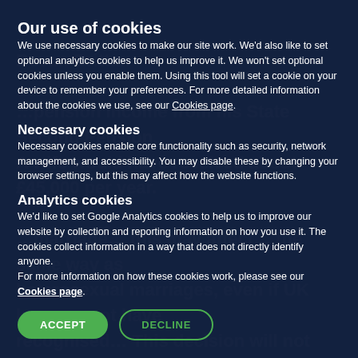Our use of cookies
We use necessary cookies to make our site work. We'd also like to set optional analytics cookies to help us improve it. We won't set optional cookies unless you enable them. Using this tool will set a cookie on your device to remember your preferences. For more detailed information about the cookies we use, see our Cookies page.
Necessary cookies
Necessary cookies enable core functionality such as security, network management, and accessibility. You may disable these by changing your browser settings, but this may affect how the website functions.
Analytics cookies
We'd like to set Google Analytics cookies to help us to improve our website by collection and reporting information on how you use it. The cookies collect information in a way that does not directly identify anyone. For more information on how these cookies work, please see our Cookies page.
ACCEPT
DECLINE